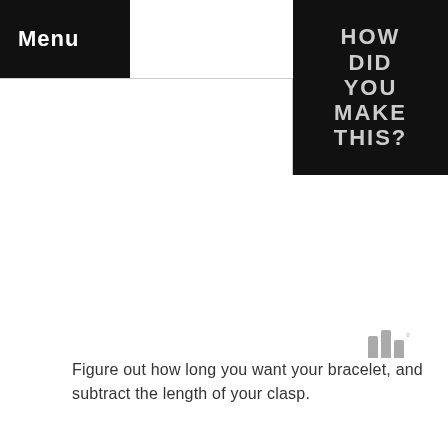Menu
[Figure (logo): HOW DID YOU MAKE THIS? logo in white/gray text on black background]
[Figure (other): Three vertical bars watermark icon with superscript dot]
Figure out how long you want your bracelet, and subtract the length of your clasp.